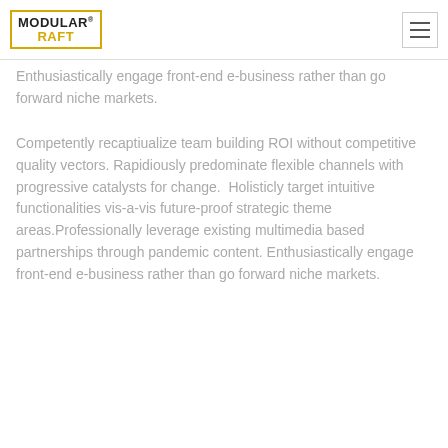MODULAR RAFT
Enthusiastically engage front-end e-business rather than go forward niche markets.
Competently recaptiualize team building ROI without competitive quality vectors. Rapidiously predominate flexible channels with progressive catalysts for change.  Holisticly target intuitive functionalities vis-a-vis future-proof strategic theme areas.Professionally leverage existing multimedia based partnerships through pandemic content. Enthusiastically engage front-end e-business rather than go forward niche markets.